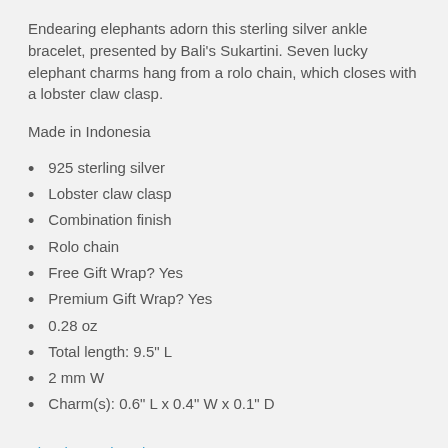Endearing elephants adorn this sterling silver ankle bracelet, presented by Bali's Sukartini. Seven lucky elephant charms hang from a rolo chain, which closes with a lobster claw clasp.
Made in Indonesia
925 sterling silver
Lobster claw clasp
Combination finish
Rolo chain
Free Gift Wrap? Yes
Premium Gift Wrap? Yes
0.28 oz
Total length: 9.5" L
2 mm W
Charm(s): 0.6" L x 0.4" W x 0.1" D
View in metric units